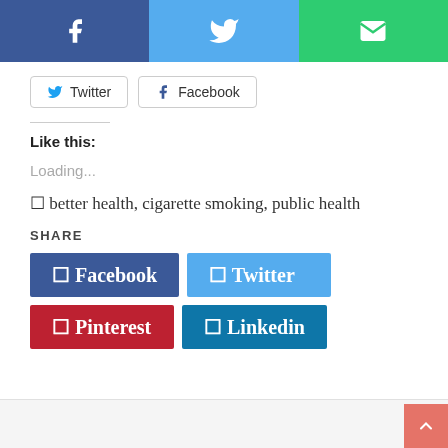[Figure (screenshot): Top navigation bar with three social sharing icons: Facebook (dark blue), Twitter (light blue), Email/envelope (green)]
Twitter
Facebook
Like this:
Loading...
⊠ better health, cigarette smoking, public health
SHARE
⊠ Facebook
⊠ Twitter
⊠ Pinterest
⊠ Linkedin